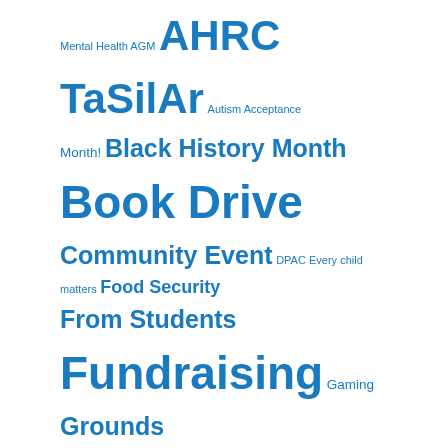Mental Health AGM AHRC Taker Talent Autism Acceptance Month! Black History Month Book Drive Community Event DPAC Every child matters Food Security From Students Fundraising Gaming Grounds improvement HARC Hastings day one Indigenous Heritage Month Internet Safety Movie Online Safety scholarships School news School Streets Pilot Speaker Serie Speaker series staff appreciation Teacher appreciation volunteer Walking school bus
CATEGORIES
Events
Initiatives
Meetings
Sponsors
Uncategorized
Proudly powered by WordPress ® Theme: Colinear by